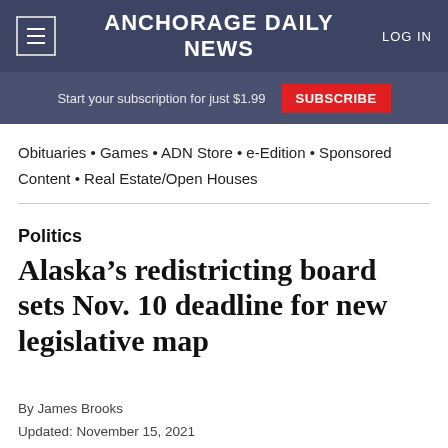≡ ANCHORAGE DAILY NEWS  LOG IN
Start your subscription for just $1.99  SUBSCRIBE
Obituaries • Games • ADN Store • e-Edition • Sponsored Content • Real Estate/Open Houses
Politics
Alaska's redistricting board sets Nov. 10 deadline for new legislative map
By James Brooks
Updated: November 15, 2021
Published: August 24, 2021